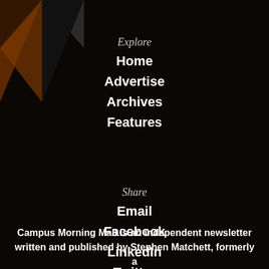[Figure (logo): Geometric triangle logo in dark brown/black tones in the top-left corner]
Explore
Home
Advertise
Archives
Features
Share
Email
Facebook
LinkedIn
Twitter
Campus Morning Mail is an independent newsletter written and published by Stephen Matchett, formerly a